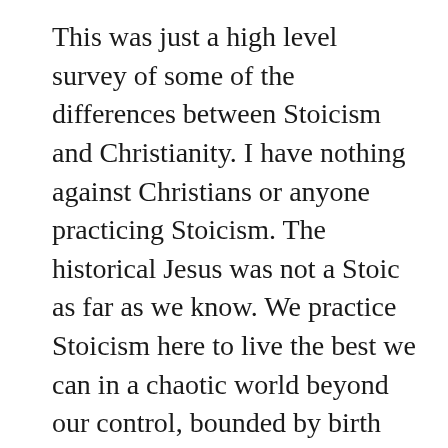This was just a high level survey of some of the differences between Stoicism and Christianity. I have nothing against Christians or anyone practicing Stoicism. The historical Jesus was not a Stoic as far as we know. We practice Stoicism here to live the best we can in a chaotic world beyond our control, bounded by birth and death. I'd argue Stoicism is about being the best Human Being we can be here now. We should not hold dogmatically to the ancient Stoics or cultural beliefs in my personal view. Epictetus said roughly the same. I think discussing these and other worldviews is beneficial if you can keep an open